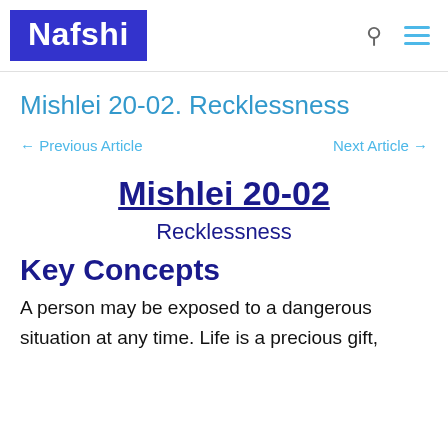Nafshi
Mishlei 20-02. Recklessness
← Previous Article    Next Article →
Mishlei 20-02
Recklessness
Key Concepts
A person may be exposed to a dangerous situation at any time. Life is a precious gift,